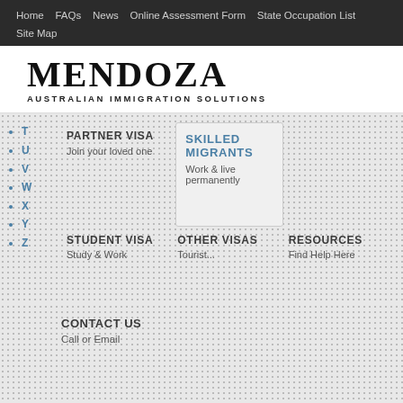Home  FAQs  News  Online Assessment Form  State Occupation List  Site Map
MENDOZA
AUSTRALIAN IMMIGRATION SOLUTIONS
T
U
V
W
X
Y
Z
PARTNER VISA
Join your loved one
SKILLED MIGRANTS
Work & live permanently
STUDENT VISA
Study & Work
OTHER VISAS
Tourist...
RESOURCES
Find Help Here
CONTACT US
Call or Email
Email us